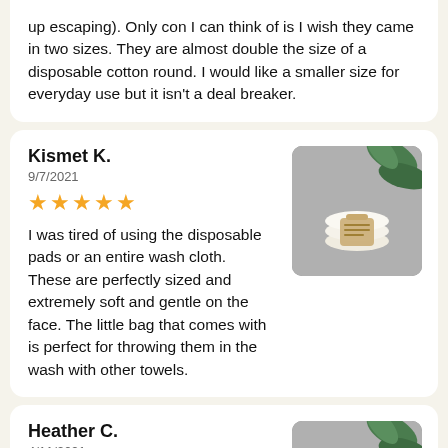up escaping). Only con I can think of is I wish they came in two sizes. They are almost double the size of a disposable cotton round. I would like a smaller size for everyday use but it isn't a deal breaker.
Kismet K.
9/7/2021
[Figure (photo): Product photo showing reusable cotton pads with a small tag, displayed with plant leaves in background]
I was tired of using the disposable pads or an entire wash cloth. These are perfectly sized and extremely soft and gentle on the face. The little bag that comes with is perfect for throwing them in the wash with other towels.
Heather C.
4/11/2021
[Figure (photo): Product photo showing reusable cotton pads with plant leaves in background]